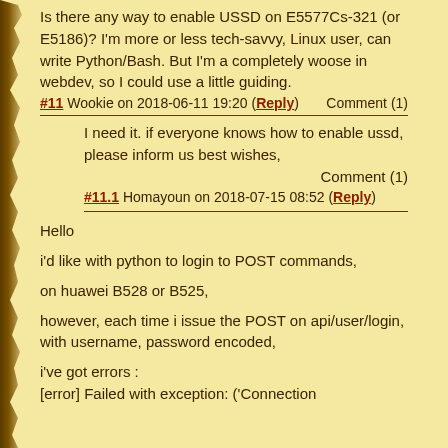Is there any way to enable USSD on E5577Cs-321 (or E5186)? I'm more or less tech-savvy, Linux user, can write Python/Bash. But I'm a completely woose in webdev, so I could use a little guiding.
#11 Wookie on 2018-06-11 19:20 (Reply)    Comment (1)
I need it. if everyone knows how to enable ussd, please inform us best wishes,    Comment (1)
#11.1 Homayoun on 2018-07-15 08:52 (Reply)
Hello
i'd like with python to login to POST commands,
on huawei B528 or B525,
however, each time i issue the POST on api/user/login, with username, password encoded,
i've got errors :
[error] Failed with exception: ('Connection